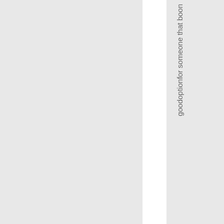goodoptionfor someone that boon